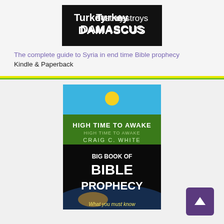[Figure (illustration): Book cover for 'Turkey destroys Damascus' — black background with white bold text reading 'Turkey destroys DAMASCUS']
The complete guide to Syria in end time Bible prophecy
Kindle & Paperback
[Figure (illustration): Book cover for 'Big Book of Bible Prophecy' by Craig C. White — High Time to Awake branding, green and black design with Earth image and text 'What you must know']